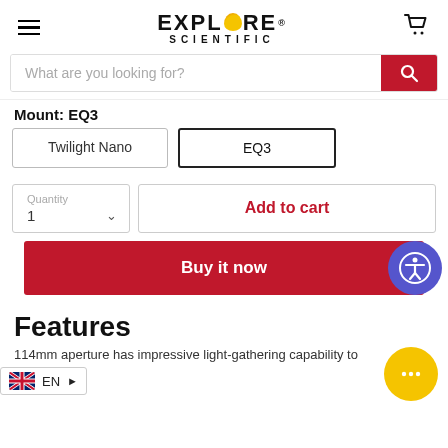Explore Scientific (logo)
What are you looking for?
Mount: EQ3
Twilight Nano
EQ3
Quantity
1
Add to cart
Buy it now
Features
EN >
114mm aperture has impressive light-gathering capability to